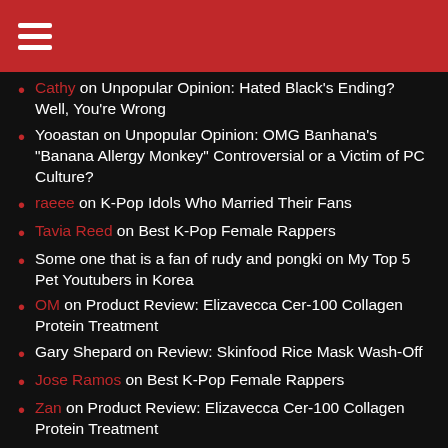Menu (hamburger icon)
Cathy on Unpopular Opinion: Hated Black's Ending? Well, You're Wrong
Yooastan on Unpopular Opinion: OMG Banhana's "Banana Allergy Monkey" Controversial or a Victim of PC Culture?
raeee on K-Pop Idols Who Married Their Fans
Tavia Reed on Best K-Pop Female Rappers
Some one that is a fan of rudy and pongki on My Top 5 Pet Youtubers in Korea
OM on Product Review: Elizavecca Cer-100 Collagen Protein Treatment
Gary Shepard on Review: Skinfood Rice Mask Wash-Off
Jose Ramos on Best K-Pop Female Rappers
Zan on Product Review: Elizavecca Cer-100 Collagen Protein Treatment
Paula on Review: Skinfood Rice Mask Wash-Off
POPULAR POSTS